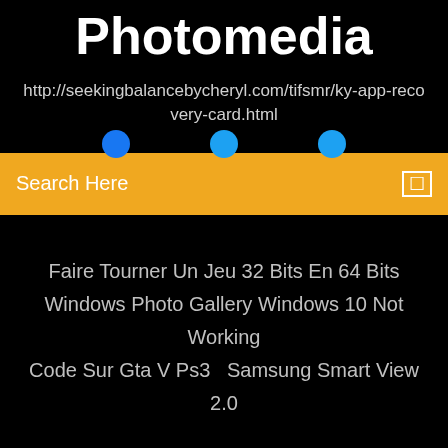Photomedia
http://seekingbalancebycheryl.com/tifsmr/ky-app-recovery-card.html
Search Here
Faire Tourner Un Jeu 32 Bits En 64 Bits
Windows Photo Gallery Windows 10 Not Working
Code Sur Gta V Ps3   Samsung Smart View 2.0
Copyright ©2022 All rights reserved